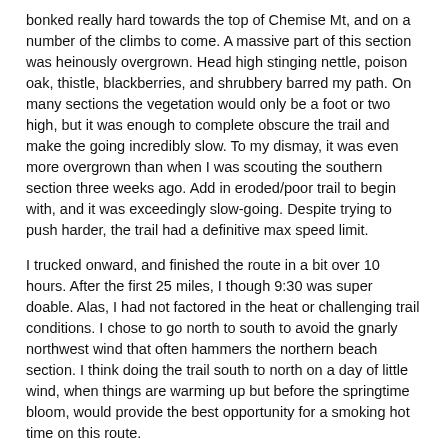bonked really hard towards the top of Chemise Mt, and on a number of the climbs to come. A massive part of this section was heinously overgrown. Head high stinging nettle, poison oak, thistle, blackberries, and shrubbery barred my path. On many sections the vegetation would only be a foot or two high, but it was enough to complete obscure the trail and make the going incredibly slow. To my dismay, it was even more overgrown than when I was scouting the southern section three weeks ago. Add in eroded/poor trail to begin with, and it was exceedingly slow-going. Despite trying to push harder, the trail had a definitive max speed limit.
I trucked onward, and finished the route in a bit over 10 hours. After the first 25 miles, I though 9:30 was super doable. Alas, I had not factored in the heat or challenging trail conditions. I chose to go north to south to avoid the gnarly northwest wind that often hammers the northern beach section. I think doing the trail south to north on a day of little wind, when things are warming up but before the springtime bloom, would provide the best opportunity for a smoking hot time on this route.
I am so so so incredibly happy I did this! Ran through seals, a herd of elk, and some damn beautiful terrain. Still digesting this one.